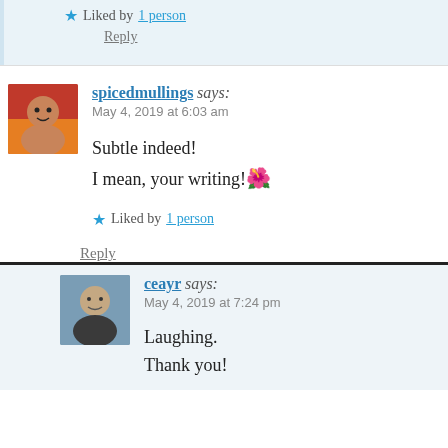★ Liked by 1 person
Reply
spicedmullings says: May 4, 2019 at 6:03 am
Subtle indeed!
I mean, your writing!🌺
★ Liked by 1 person
Reply
ceayr says: May 4, 2019 at 7:24 pm
Laughing.
Thank you!